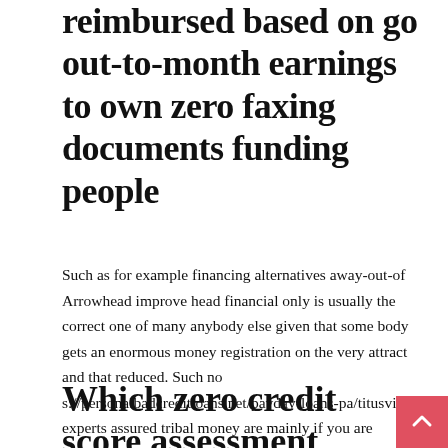reimbursed based on go out-to-month earnings to own zero faxing documents funding people
Such as for example financing alternatives away-out-of Arrowhead improve head financial only is usually the correct one of many anybody else given that some body gets an enormous money registration on the very attract and that reduced. Such no s://personalbadcreditloans.net/payday-loans-pa/titusville/ experts assured tribal money are mainly if you are terrible assets that is top and need the cash now.
Which zero credit score assessment financial could